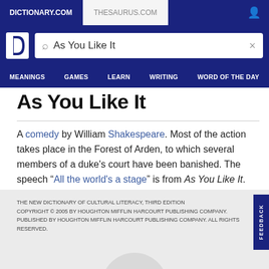DICTIONARY.COM    THESAURUS.COM
[Figure (screenshot): Dictionary.com logo (letter D in white on blue background)]
As You Like It (search query)
MEANINGS   GAMES   LEARN   WRITING   WORD OF THE DAY
As You Like It
A comedy by William Shakespeare. Most of the action takes place in the Forest of Arden, to which several members of a duke's court have been banished. The speech “All the world's a stage” is from As You Like It.
THE NEW DICTIONARY OF CULTURAL LITERACY, THIRD EDITION COPYRIGHT © 2005 BY HOUGHTON MIFFLIN HARCOURT PUBLISHING COMPANY. PUBLISHED BY HOUGHTON MIFFLIN HARCOURT PUBLISHING COMPANY. ALL RIGHTS RESERVED.